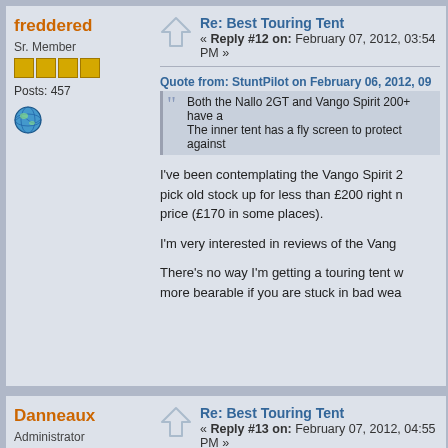freddered
Sr. Member
Posts: 457
Re: Best Touring Tent « Reply #12 on: February 07, 2012, 03:54 PM »
Quote from: StuntPilot on February 06, 2012, 09... Both the Nallo 2GT and Vango Spirit 200+ have ... The inner tent has a fly screen to protect against...
I've been contemplating the Vango Spirit ... pick old stock up for less than £200 right now ... price (£170 in some places).
I'm very interested in reviews of the Vango...
There's no way I'm getting a touring tent w... more bearable if you are stuck in bad wea...
Danneaux
Administrator
Hero Member
Re: Best Touring Tent « Reply #13 on: February 07, 2012, 04:55 PM »